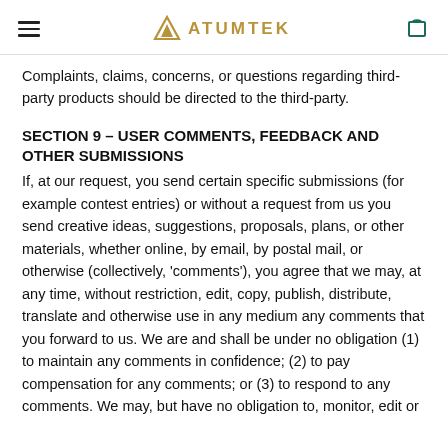ATUMTEK
Complaints, claims, concerns, or questions regarding third-party products should be directed to the third-party.
SECTION 9 – USER COMMENTS, FEEDBACK AND OTHER SUBMISSIONS
If, at our request, you send certain specific submissions (for example contest entries) or without a request from us you send creative ideas, suggestions, proposals, plans, or other materials, whether online, by email, by postal mail, or otherwise (collectively, 'comments'), you agree that we may, at any time, without restriction, edit, copy, publish, distribute, translate and otherwise use in any medium any comments that you forward to us. We are and shall be under no obligation (1) to maintain any comments in confidence; (2) to pay compensation for any comments; or (3) to respond to any comments. We may, but have no obligation to, monitor, edit or